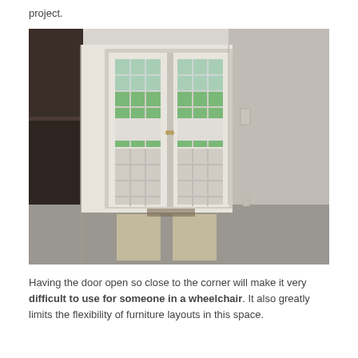project.
[Figure (photo): Interior room photo showing french doors opening to a deck/patio with a green lawn and hills visible outside. The room has grey carpet, white walls, and dark wood cabinetry visible on the left side. Light streams through the glass-paned double doors casting rectangular shadows on the floor.]
Having the door open so close to the corner will make it very difficult to use for someone in a wheelchair. It also greatly limits the flexibility of furniture layouts in this space.